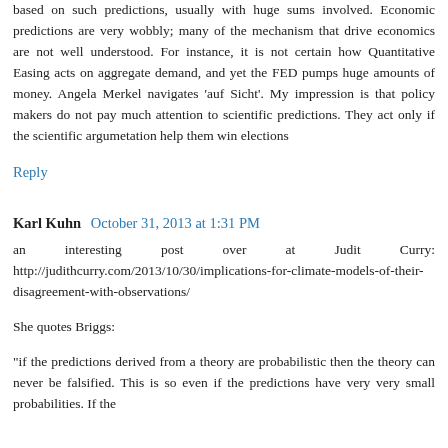based on such predictions, usually with huge sums involved. Economic predictions are very wobbly; many of the mechanism that drive economics are not well understood. For instance, it is not certain how Quantitative Easing acts on aggregate demand, and yet the FED pumps huge amounts of money. Angela Merkel navigates 'auf Sicht'. My impression is that policy makers do not pay much attention to scientific predictions. They act only if the scientific argumetation help them win elections
Reply
Karl Kuhn  October 31, 2013 at 1:31 PM
an interesting post over at Judit Curry: http://judithcurry.com/2013/10/30/implications-for-climate-models-of-their-disagreement-with-observations/
She quotes Briggs:
"if the predictions derived from a theory are probabilistic then the theory can never be falsified. This is so even if the predictions have very very small probabilities. If the